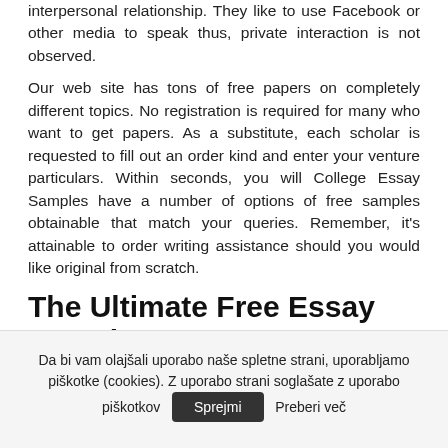interpersonal relationship. They like to use Facebook or other media to speak thus, private interaction is not observed.
Our web site has tons of free papers on completely different topics. No registration is required for many who want to get papers. As a substitute, each scholar is requested to fill out an order kind and enter your venture particulars. Within seconds, you will College Essay Samples have a number of options of free samples obtainable that match your queries. Remember, it's attainable to order writing assistance should you would like original from scratch.
The Ultimate Free Essay Samples Key
I attain in and let my fingers path around the surfaces of
Da bi vam olajšali uporabo naše spletne strani, uporabljamo piškotke (cookies). Z uporabo strani soglašate z uporabo piškotkov  Sprejmi  Preberi več